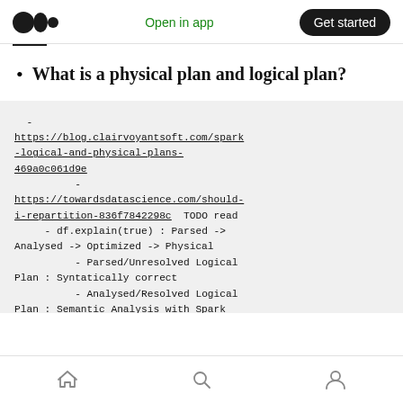Open in app  Get started
What is a physical plan and logical plan?
- https://blog.clairvoyantsoft.com/spark-logical-and-physical-plans-469a0c061d9e
          -
https://towardsdatascience.com/should-i-repartition-836f7842298c  TODO read
     - df.explain(true) : Parsed -> Analysed -> Optimized -> Physical
          - Parsed/Unresolved Logical Plan : Syntatically correct
          - Analysed/Resolved Logical Plan : Semantic Analysis with Spark
home  search  profile